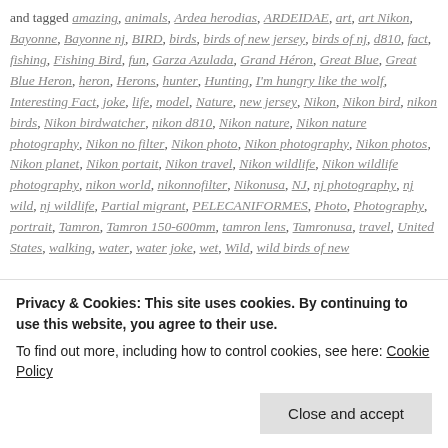Wildlife and tagged amazing, animals, Ardea herodias, ARDEIDAE, art, art Nikon, Bayonne, Bayonne nj, BIRD, birds, birds of new jersey, birds of nj, d810, fact, fishing, Fishing Bird, fun, Garza Azulada, Grand Héron, Great Blue, Great Blue Heron, heron, Herons, hunter, Hunting, I'm hungry like the wolf, Interesting Fact, joke, life, model, Nature, new jersey, Nikon, Nikon bird, nikon birds, Nikon birdwatcher, nikon d810, Nikon nature, Nikon nature photography, Nikon no filter, Nikon photo, Nikon photography, Nikon photos, Nikon planet, Nikon portait, Nikon travel, Nikon wildlife, Nikon wildlife photography, nikon world, nikonnofilter, Nikonusa, NJ, nj photography, nj wild, nj wildlife, Partial migrant, PELECANIFORMES, Photo, Photography, portrait, Tamron, Tamron 150-600mm, tamron lens, Tamronusa, travel, United States, walking, water, water joke, wet, Wild, wild birds of new
Privacy & Cookies: This site uses cookies. By continuing to use this website, you agree to their use.
To find out more, including how to control cookies, see here: Cookie Policy